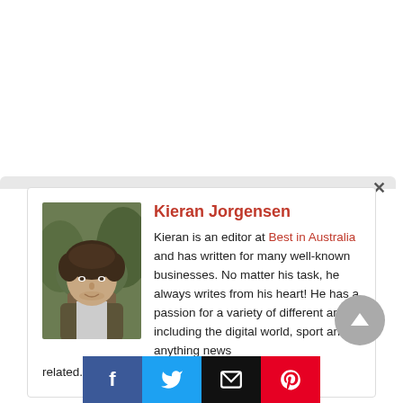[Figure (photo): Author profile photo of Kieran Jorgensen — young man with curly hair, casual jacket, trees in background]
Kieran Jorgensen
Kieran is an editor at Best in Australia and has written for many well-known businesses. No matter his task, he always writes from his heart! He has a passion for a variety of different areas, including the digital world, sport and anything news related.